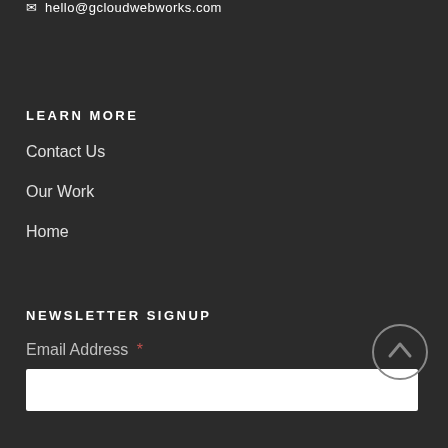✉ hello@gcloudwebworks.com
LEARN MORE
Contact Us
Our Work
Home
NEWSLETTER SIGNUP
Email Address *
(email input field)